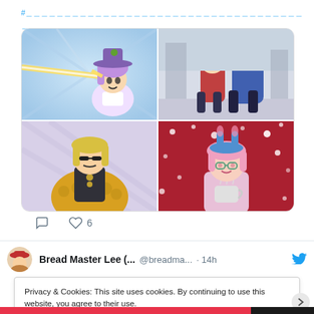#[Japanese hashtag characters]
[Figure (illustration): 2x2 grid of anime character images: top-left shows a purple-haired anime character with a white hat being hit by a laser beam; top-right shows two anime characters from behind in winter coats; bottom-left shows an anime character with yellow fur coat; bottom-right shows a pink-haired anime character with bunny ears against a red snowy background]
💬  ♡ 6
Bread Master Lee (... @breadma... · 14h
Privacy & Cookies: This site uses cookies. By continuing to use this website, you agree to their use.
To find out more, including how to control cookies, see here: Cookie Policy
Close and accept